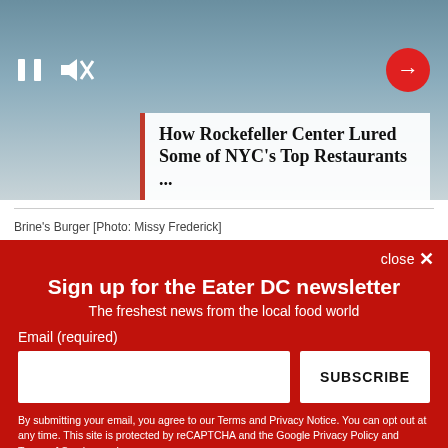[Figure (screenshot): Video thumbnail showing Rockefeller Center with golden statue, video controls (pause and mute icons on left, red arrow button on right), and a title overlay card with red left border]
How Rockefeller Center Lured Some of NYC's Top Restaurants ...
Brine's Burger [Photo: Missy Frederick]
close ×
Sign up for the Eater DC newsletter
The freshest news from the local food world
Email (required)
SUBSCRIBE
By submitting your email, you agree to our Terms and Privacy Notice. You can opt out at any time. This site is protected by reCAPTCHA and the Google Privacy Policy and Terms of Service apply.